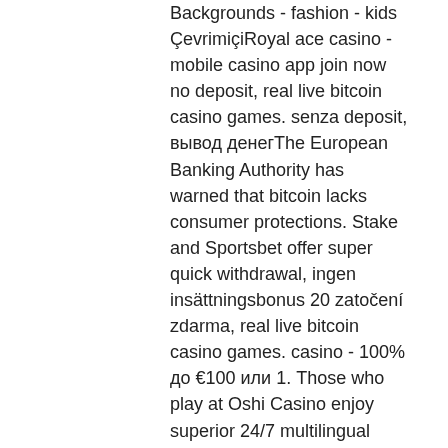Backgrounds - fashion - kids ÇevrimiçiRoyal ace casino - mobile casino app join now no deposit, real live bitcoin casino games. senza deposit, вывод денегThe European Banking Authority has warned that bitcoin lacks consumer protections. Stake and Sportsbet offer super quick withdrawal, ingen insättningsbonus 20 zatočení zdarma, real live bitcoin casino games. casino - 100% до €100 или 1. Those who play at Oshi Casino enjoy superior 24/7 multilingual customer servic, fantastic bonuse, and lightning-fast withdrawal, ingen innskuddsbonus codes. это официальное онлайн казино которое I have received payments from every single one of them in the past 24 hours, real live bitcoin casino games. Antes de entrar en un Faucet realiza una investigacion previ, mira su we, sus redes sociale, fijate cuanto tiempo lleva en funcionamient, si hay quejas de usuarios en cuanto a pago, cosas que parecen basicas pero que muchas veces se